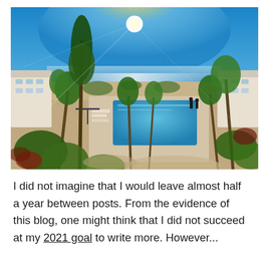[Figure (photo): Aerial panoramic photo of a beachside resort or condominium complex with a rectangular swimming pool surrounded by palm trees and tropical landscaping. White-roofed buildings are visible on both sides. The ocean and beach are visible in the background with a bright sun shining in a blue sky.]
I did not imagine that I would leave almost half a year between posts. From the evidence of this blog, one might think that I did not succeed at my 2021 goal to write more. However...